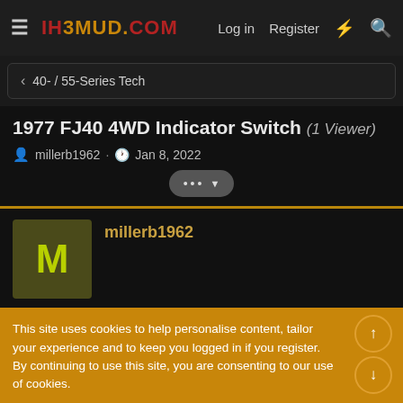IH3MUD.COM  Log in  Register
40- / 55-Series Tech
1977 FJ40 4WD Indicator Switch (1 Viewer)
millerb1962 · Jan 8, 2022
millerb1962
This site uses cookies to help personalise content, tailor your experience and to keep you logged in if you register.
By continuing to use this site, you are consenting to our use of cookies.
Accept  Learn more...